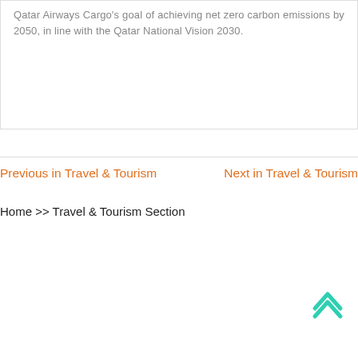Qatar Airways Cargo's goal of achieving net zero carbon emissions by 2050, in line with the Qatar National Vision 2030.
Previous in Travel & Tourism
Next in Travel & Tourism
Home >> Travel & Tourism Section